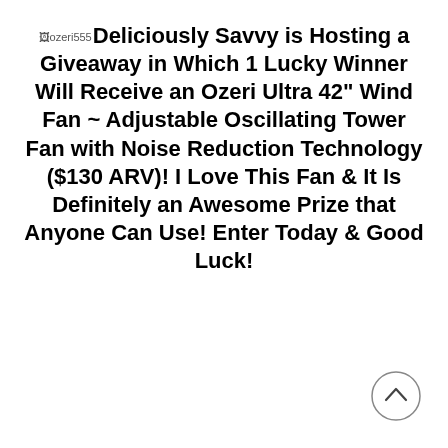[ozeri555] Deliciously Savvy is Hosting a Giveaway in Which 1 Lucky Winner Will Receive an Ozeri Ultra 42" Wind Fan ~ Adjustable Oscillating Tower Fan with Noise Reduction Technology ($130 ARV)! I Love This Fan & It Is Definitely an Awesome Prize that Anyone Can Use! Enter Today & Good Luck!
[Figure (other): Scroll-to-top button: circle with upward-pointing chevron]